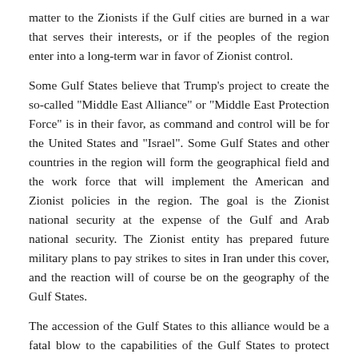matter to the Zionists if the Gulf cities are burned in a war that serves their interests, or if the peoples of the region enter into a long-term war in favor of Zionist control.
Some Gulf States believe that Trump's project to create the so-called "Middle East Alliance" or "Middle East Protection Force" is in their favor, as command and control will be for the United States and "Israel". Some Gulf States and other countries in the region will form the geographical field and the work force that will implement the American and Zionist policies in the region. The goal is the Zionist national security at the expense of the Gulf and Arab national security. The Zionist entity has prepared future military plans to pay strikes to sites in Iran under this cover, and the reaction will of course be on the geography of the Gulf States.
The accession of the Gulf States to this alliance would be a fatal blow to the capabilities of the Gulf States to protect themselves and be totally subjugated to American and Zionist hegemony and Iranian reactions, and this represents one of the major losses to the normalization agreements with the Zionist entity.
Normalization will make the Zionist arms purchase chains, information